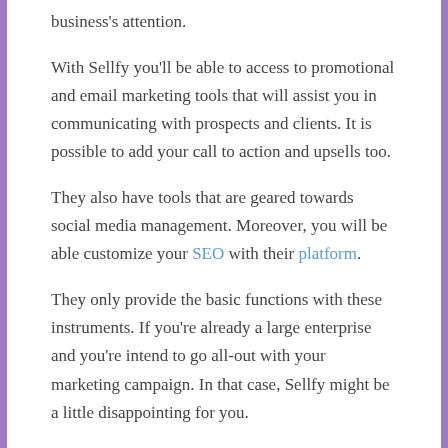business's attention.
With Sellfy you'll be able to access to promotional and email marketing tools that will assist you in communicating with prospects and clients. It is possible to add your call to action and upsells too.
They also have tools that are geared towards social media management. Moreover, you will be able customize your SEO with their platform.
They only provide the basic functions with these instruments. If you're already a large enterprise and you're intend to go all-out with your marketing campaign. In that case, Sellfy might be a little disappointing for you.
Who's it intended for?